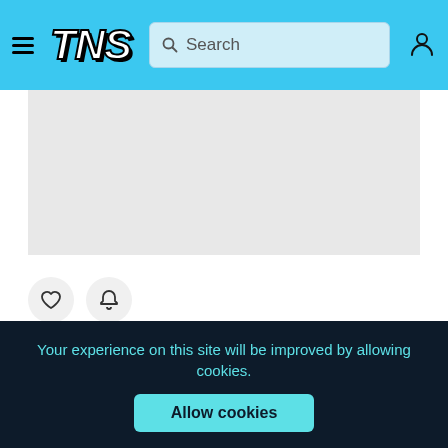TNS
[Figure (photo): Product image placeholder area (light gray background, no product visible)]
[Figure (illustration): Wishlist heart icon and notification bell icon buttons]
Women's UA HOVR Omnia Training Shoes
Your experience on this site will be improved by allowing cookies.
Allow cookies